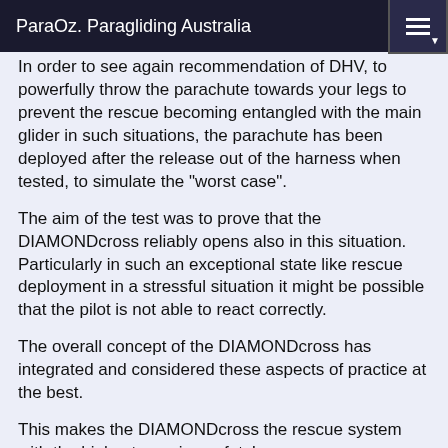ParaOz. Paragliding Australia
In order to see again recommendation of DHV, to powerfully throw the parachute towards your legs to prevent the rescue becoming entangled with the main glider in such situations, the parachute has been deployed after the release out of the harness when tested, to simulate the "worst case".
The aim of the test was to prove that the DIAMONDcross reliably opens also in this situation. Particularly in such an exceptional state like rescue deployment in a stressful situation it might be possible that the pilot is not able to react correctly.
The overall concept of the DIAMONDcross has integrated and considered these aspects of practice at the best.
This makes the DIAMONDcross the rescue system with the highest opening safety!
DIAMONDcross rescue system test-Videos